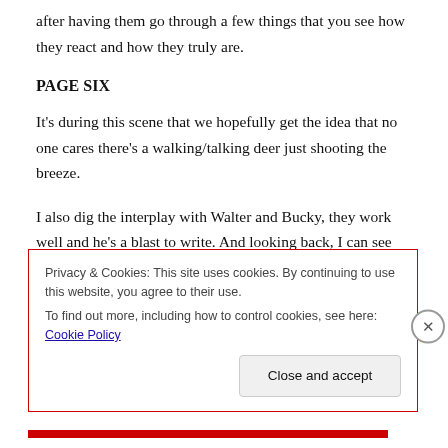after having them go through a few things that you see how they react and how they truly are.
PAGE SIX
It's during this scene that we hopefully get the idea that no one cares there's a walking/talking deer just shooting the breeze.
I also dig the interplay with Walter and Bucky, they work well and he's a blast to write. And looking back, I can see this issue was about bouncing Bucky through certain pulp
Privacy & Cookies: This site uses cookies. By continuing to use this website, you agree to their use.
To find out more, including how to control cookies, see here: Cookie Policy
Close and accept